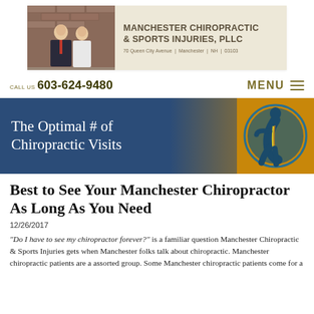[Figure (photo): Manchester Chiropractic & Sports Injuries, PLLC header banner with photo of two practitioners (man in suit and woman in white coat) on left, and clinic name/address text on right on a beige background. Address: 70 Queen City Avenue | Manchester | NH | 03103]
CALL US 603-624-9480   MENU
[Figure (photo): Blue and gold hero banner reading 'The Optimal # of Chiropractic Visits' with a gold circular logo showing a silhouette of a person with spine highlighted]
Best to See Your Manchester Chiropractor As Long As You Need
12/26/2017
"Do I have to see my chiropractor forever?" is a familiar question Manchester Chiropractic & Sports Injuries gets when Manchester folks talk about chiropractic. Manchester chiropractic patients are a assorted group. Some Manchester chiropractic patients come for a